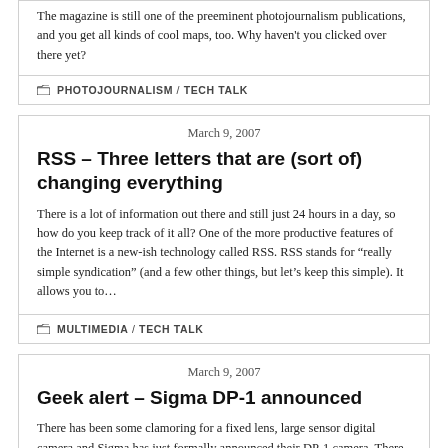The magazine is still one of the preeminent photojournalism publications, and you get all kinds of cool maps, too. Why haven't you clicked over there yet?
PHOTOJOURNALISM / TECH TALK
March 9, 2007
RSS – Three letters that are (sort of) changing everything
There is a lot of information out there and still just 24 hours in a day, so how do you keep track of it all? One of the more productive features of the Internet is a new-ish technology called RSS. RSS stands for “really simple syndication” (and a few other things, but let’s keep this simple). It allows you to…
MULTIMEDIA / TECH TALK
March 9, 2007
Geek alert – Sigma DP-1 announced
There has been some clamoring for a fixed lens, large sensor digital camera and Sigma has just formally announced their DP-1 camera. There are indications of…